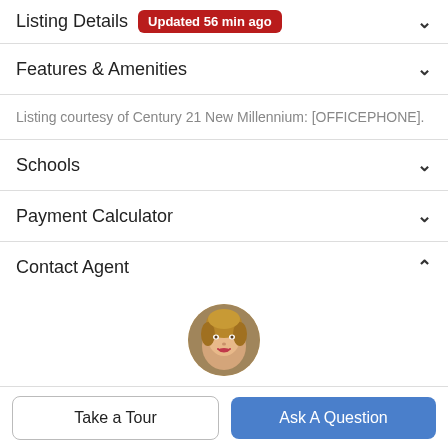Listing Details — Updated 56 min ago
Features & Amenities
Listing courtesy of Century 21 New Millennium: [OFFICEPHONE].
Schools
Payment Calculator
Contact Agent
[Figure (photo): Circular agent profile photo of a woman with blonde/brown hair and red lipstick]
Take a Tour
Ask A Question